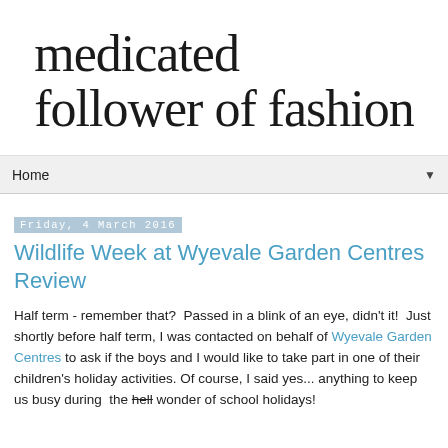[Figure (logo): Handwritten cursive logo text reading 'medicated follower of fashion']
Home ▼
Friday, 4 March 2016
Wildlife Week at Wyevale Garden Centres Review
Half term - remember that?  Passed in a blink of an eye, didn't it!  Just shortly before half term, I was contacted on behalf of Wyevale Garden Centres to ask if the boys and I would like to take part in one of their children's holiday activities. Of course, I said yes... anything to keep us busy during  the hell wonder of school holidays!